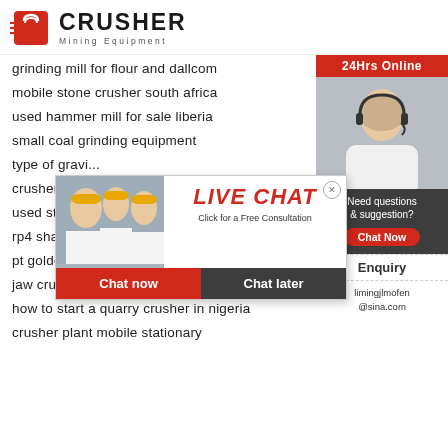[Figure (logo): Crusher Mining Equipment logo with red shopping bag icon and bold CRUSHER text]
grinding mill for flour and dallcom
mobile stone crusher south africa
used hammer mill for sale liberia
small coal grinding equipment
type of gravi...
crusher dan h...
used stone cr...
rp4 shaker le review
pt golden grands mills
jaw crusher primary crusher rock crusher
how to start a quarry crusher in nigeria
crusher plant mobile stationary
[Figure (infographic): Live Chat popup with workers in hard hats photo, LIVE CHAT title, Click for a Free Consultation subtitle, Chat now and Chat later buttons]
[Figure (infographic): Right sidebar with 24Hrs Online header, woman with headset photo, Need questions & suggestion chat now button, Enquiry link, limingjlmofen@sina.com email]